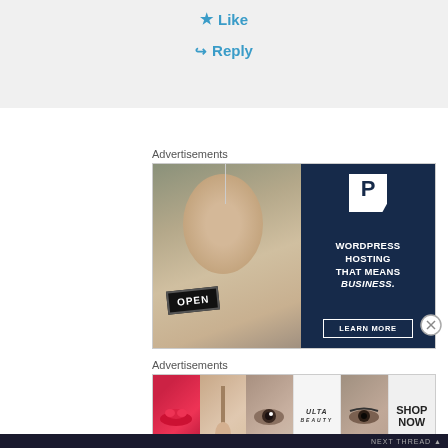★ Like
↪ Reply
Advertisements
[Figure (illustration): WordPress hosting advertisement showing a woman holding an OPEN sign on the left, and dark navy panel on the right with a P logo, text 'WORDPRESS HOSTING THAT MEANS BUSINESS.' and a LEARN MORE button.]
Advertisements
[Figure (illustration): Ulta beauty advertisement strip showing: lips with lipstick, makeup brush, eye with makeup, Ulta Beauty logo, dramatic eye makeup, and SHOP NOW text.]
NEXT THREAD